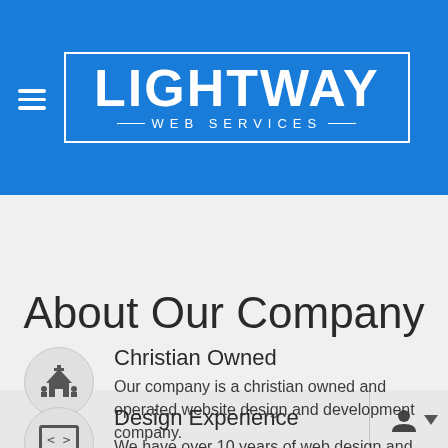LIGHTWAY WEB SERVICES
About Our Company
Christian Owned
Our company is a christian owned and operated website design and development company.
Design Experience
We have over 10 years of web design and coding